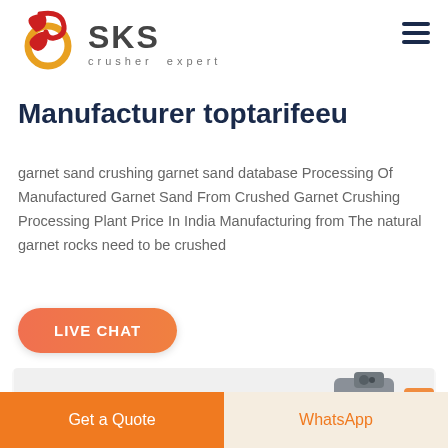[Figure (logo): SKS Crusher Expert logo with red/gold swirl emblem and dark grey SKS text with 'crusher expert' tagline]
Manufacturer toptarifeeu
garnet sand crushing garnet sand database Processing Of Manufactured Garnet Sand From Crushed Garnet Crushing Processing Plant Price In India Manufacturing from The natural garnet rocks need to be crushed
[Figure (other): LIVE CHAT orange rounded button]
[Figure (photo): Partial view of industrial crushing machine equipment on light grey background]
Get a Quote  |  WhatsApp